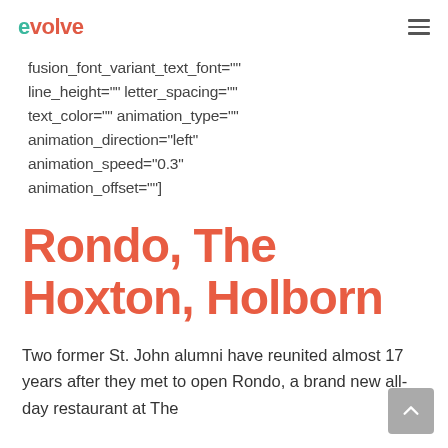evolve
fusion_font_variant_text_font=""
line_height="" letter_spacing=""
text_color="" animation_type=""
animation_direction="left"
animation_speed="0.3"
animation_offset=""]
Rondo, The Hoxton, Holborn
Two former St. John alumni have reunited almost 17 years after they met to open Rondo, a brand new all-day restaurant at The